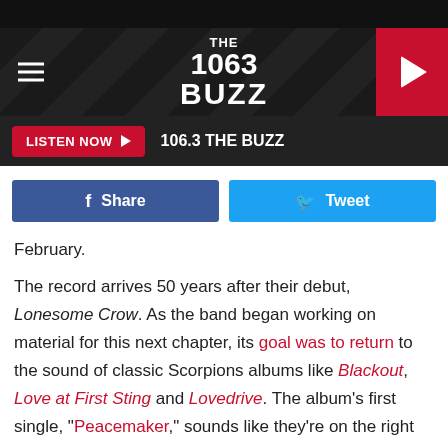[Figure (screenshot): 106.3 The Buzz radio station website header with dark metallic background, hamburger menu, logo, and red play button]
LISTEN NOW ▶  106.3 THE BUZZ
[Figure (infographic): Facebook Share button (dark blue) and Twitter Tweet button (light blue)]
February.
The record arrives 50 years after their debut, Lonesome Crow. As the band began working on material for this next chapter, its goal was to return to the sound of classic Scorpions albums like Blackout, Love at First Sting and Lovedrive. The album's first single, "Peacemaker," sounds like they're on the right path.